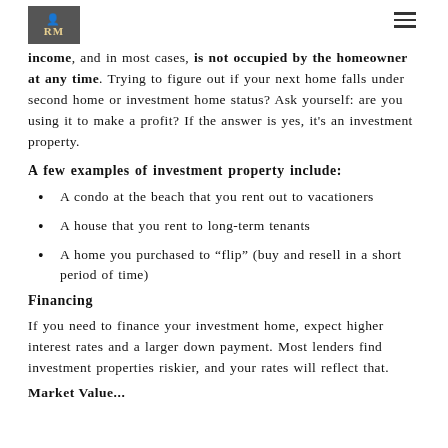income, and in most cases, is not occupied by the homeowner at any time. Trying to figure out if your next home falls under second home or investment home status? Ask yourself: are you using it to make a profit? If the answer is yes, it's an investment property.
A few examples of investment property include:
A condo at the beach that you rent out to vacationers
A house that you rent to long-term tenants
A home you purchased to “flip” (buy and resell in a short period of time)
Financing
If you need to finance your investment home, expect higher interest rates and a larger down payment. Most lenders find investment properties riskier, and your rates will reflect that.
Market Value...